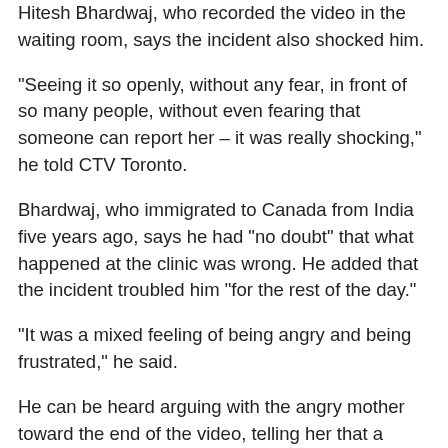Hitesh Bhardwaj, who recorded the video in the waiting room, says the incident also shocked him.
"Seeing it so openly, without any fear, in front of so many people, without even fearing that someone can report her – it was really shocking," he told CTV Toronto.
Bhardwaj, who immigrated to Canada from India five years ago, says he had "no doubt" that what happened at the clinic was wrong. He added that the incident troubled him "for the rest of the day."
"It was a mixed feeling of being angry and being frustrated," he said.
He can be heard arguing with the angry mother toward the end of the video, telling her that a doctor doesn't need to be white to speak English.
A young woman also confronts the mother at an earlier point in the video.